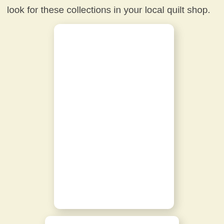look for these collections in your local quilt shop.
[Figure (photo): Large white rectangular card with rounded corners and drop shadow on a cream/yellow background]
[Figure (photo): Small white rectangular card with rounded corners and drop shadow on a cream/yellow background, partially visible at bottom]